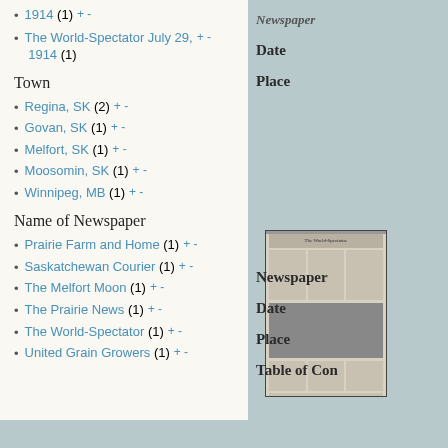1914 (1)  + -
The World-Spectator July 29, 1914 (1)  + -
Town
Regina, SK (2)  + -
Govan, SK (1)  + -
Melfort, SK (1)  + -
Moosomin, SK (1)  + -
Winnipeg, MB (1)  + -
Name of Newspaper
Prairie Farm and Home (1)  + -
Saskatchewan Courier (1)  + -
The Melfort Moon (1)  + -
The Prairie News (1)  + -
The World-Spectator (1)  + -
United Grain Growers (1)  + -
Newspaper
Date
Place
[Figure (photo): Old newspaper front page photograph of The World-Spectator]
Newspaper
Date
Place
Table of Con